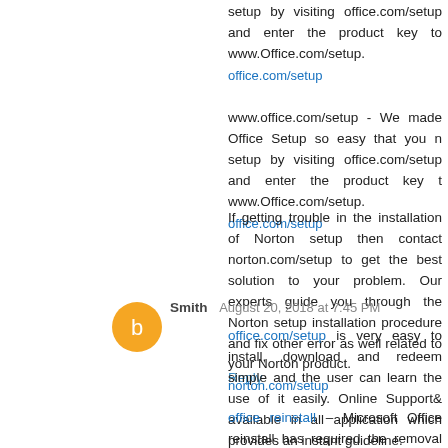setup by visiting office.com/setup and enter the product key to www.Office.com/setup.
office.com/setup
www.office.com/setup - We made Office Setup so easy that you need to setup by visiting office.com/setup and enter the product key to www.Office.com/setup.
office.com/setup
If getting trouble in the installation of Norton setup then contact norton.com/setup to get the best solution to your problem. Our experts guide you through the Norton setup installation procedure and fix other error as well related to your Norton product.
norton.com/setup
Reply
Smith  August 20, 2018 at 7:45 PM
office.com/setup is very easy to install, download and redeem simple and the user can learn the use of it easily. Online Support& available in all application which provides an instant guideline.
office reinstall – Microsoft Office reinstall has required the removal installed version of your Office product on the device or system other subscription offers the various features, which you do not get